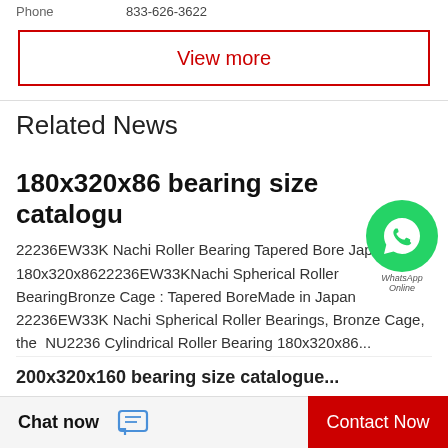Phone  833-626-3622
View more
Related News
180x320x86 bearing size catalogue
22236EW33K Nachi Roller Bearing Tapered Bore Japan 180x320x8622236EW33KNachi Spherical Roller BearingBronze Cage : Tapered BoreMade in Japan 22236EW33K Nachi Spherical Roller Bearings, Bronze Cage, the  NU2236 Cylindrical Roller Bearing 180x320x86...
Chat now
Contact Now